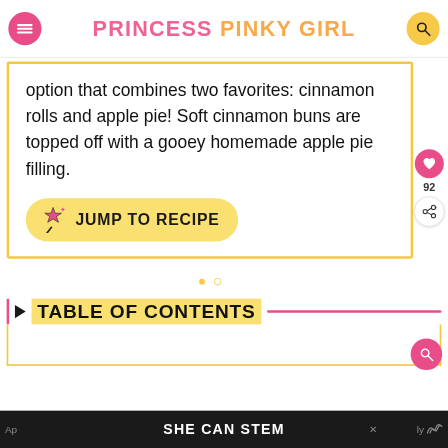PRINCESS PINKY GIRL
option that combines two favorites: cinnamon rolls and apple pie! Soft cinnamon buns are topped off with a gooey homemade apple pie filling.
JUMP TO RECIPE
TABLE OF CONTENTS
SHE CAN STEM